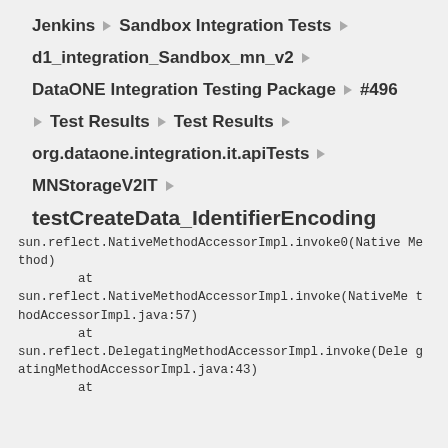Jenkins ▶ Sandbox Integration Tests ▶
d1_integration_Sandbox_mn_v2 ▶
DataONE Integration Testing Package ▶ #496
▶ Test Results ▶ Test Results ▶
org.dataone.integration.it.apiTests ▶
MNStorageV2IT ▶
testCreateData_IdentifierEncoding
sun.reflect.NativeMethodAccessorImpl.invoke0(Native Method)
        at
sun.reflect.NativeMethodAccessorImpl.invoke(NativeMethodAccessorImpl.java:57)
        at
sun.reflect.DelegatingMethodAccessorImpl.invoke(DelegatingMethodAccessorImpl.java:43)
        at